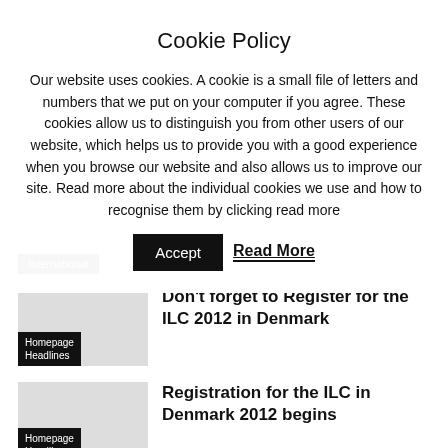Cookie Policy
Our website uses cookies. A cookie is a small file of letters and numbers that we put on your computer if you agree. These cookies allow us to distinguish you from other users of our website, which helps us to provide you with a good experience when you browse our website and also allows us to improve our site. Read more about the individual cookies we use and how to recognise them by clicking read more
International
Don’t forget to Register for the ILC 2012 in Denmark
Homepage Headlines
Registration for the ILC in Denmark 2012 begins
Homepage Headlines